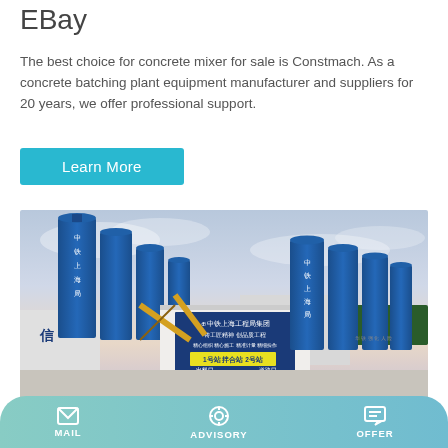EBay
The best choice for concrete mixer for sale is Constmach. As a concrete batching plant equipment manufacturer and suppliers for 20 years, we offer professional support.
Learn More
[Figure (photo): Photo of a concrete batching plant with tall blue silos and Chinese signage reading 中铁上海工程局集团, with a mixing station building in the foreground and yellow conveyor structures.]
MAIL   ADVISORY   OFFER